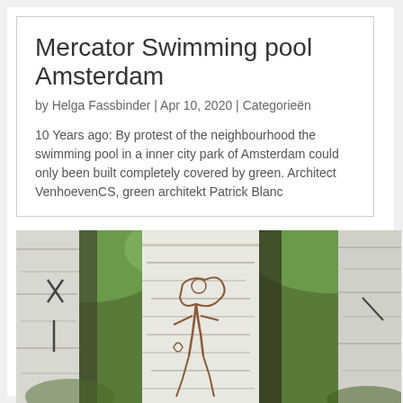Mercator Swimming pool Amsterdam
by Helga Fassbinder | Apr 10, 2020 | Categorieën
10 Years ago: By protest of the neighbourhood the swimming pool in a inner city park of Amsterdam could only been built completely covered by green. Architect VenhoevenCS, green architekt Patrick Blanc
[Figure (photo): Close-up photograph of birch tree trunks with carved graffiti drawings, surrounded by green foliage in the background]